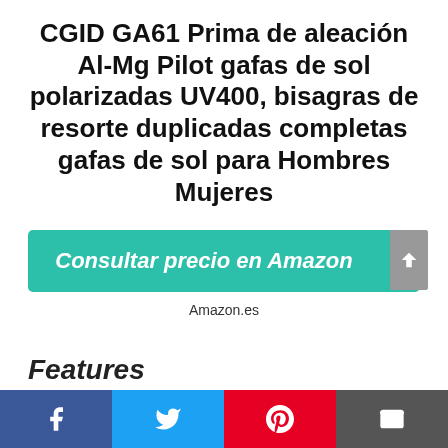CGID GA61 Prima de aleación Al-Mg Pilot gafas de sol polarizadas UV400, bisagras de resorte duplicadas completas gafas de sol para Hombres Mujeres
Consultar precio en Amazon
Amazon.es
Features